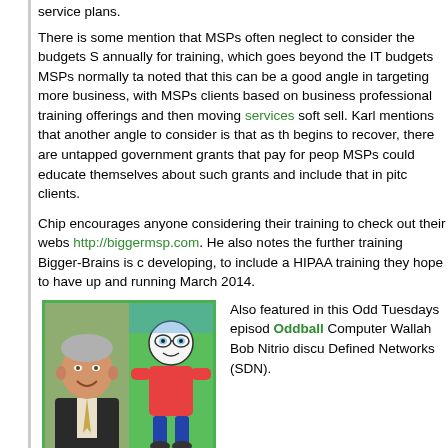service plans.
There is some mention that MSPs often neglect to consider the budgets S annually for training, which goes beyond the IT budgets MSPs normally ta noted that this can be a good angle in targeting more business, with MSPs clients based on business professional training offerings and then moving services soft sell. Karl mentions that another angle to consider is that as th begins to recover, there are untapped government grants that pay for peo MSPs could educate themselves about such grants and include that in pitc clients.
Chip encourages anyone considering their training to check out their webs http://biggermsp.com. He also notes the further training Bigger-Brains is c developing, to include a HIPAA training they hope to have up and running March 2014.
[Figure (photo): Split image: left side shows photo of Bob Nitrio (older man smiling in suit), right side shows a cartoon character illustration on green background. Image has green border.]
Bob Nitrio
Computer Wallah
Also featured in this Odd Tuesdays episode, Oddball Computer Wallah Bob Nitrio discu Defined Networks (SDN).